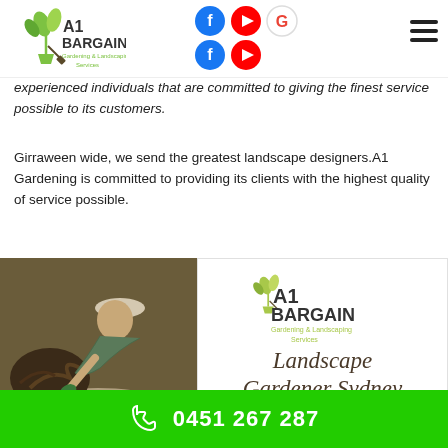[Figure (logo): A1 Bargain Gardening & Landscaping Services logo with green plant icon]
[Figure (infographic): Social media icons: Facebook (blue), YouTube (red), Google (G), and a second row with Facebook and YouTube icons]
experienced individuals that are committed to giving the finest service possible to its customers.
Girraween wide, we send the greatest landscape designers.A1 Gardening is committed to providing its clients with the highest quality of service possible.
[Figure (photo): A gardener/landscaper working on a garden bed with gravel and plants]
[Figure (logo): A1 Bargain Gardening & Landscaping Services logo with text 'Landscape Gardener Sydney' in italic script]
0451 267 287